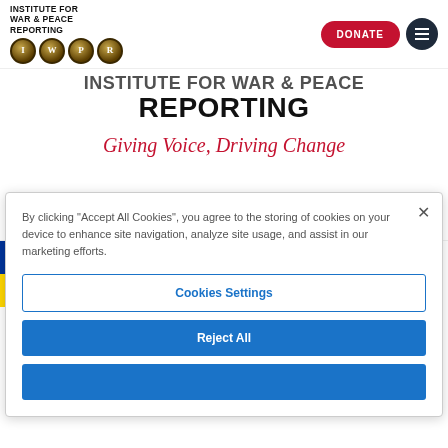[Figure (logo): Institute for War & Peace Reporting logo with IWPR circles and navigation bar including DONATE button]
INSTITUTE FOR WAR & PEACE REPORTING
Giving Voice, Driving Change
United Kingdom  48 Gray's Inn Road London WC1X 8LT  Tel: +44 (0)20 7831 1030
PR United States  1156 15th Street NW Suite 329 Washington, DC 20005
By clicking "Accept All Cookies", you agree to the storing of cookies on your device to enhance site navigation, analyze site usage, and assist in our marketing efforts.
Cookies Settings
Reject All